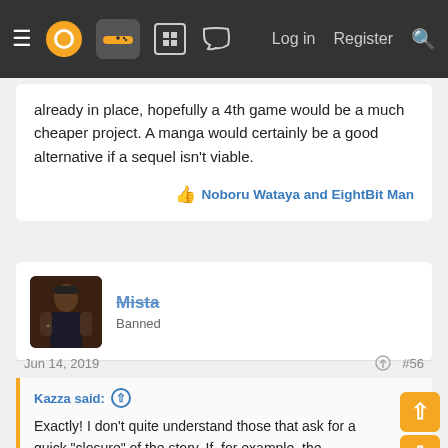Navigation bar with menu, logo, controller icon, grid icon, chat icon, Log in, Register, Search
already in place, hopefully a 4th game would be a much cheaper project. A manga would certainly be a good alternative if a sequel isn't viable.
Noboru Wataya and EightBit Man
Mista
Banned
Jun 14, 2019
#56
Kazza said:
Exactly! I don't quite understand those that ask for a quick "closure" of the story. If, for example, the kickstarter had only garnered $500k in funds and Suzuki had said, "fuck it, let me just make a 30 min conclusion to the story so that everyone has closure", would fans have really been satisfied with such a rushed job?